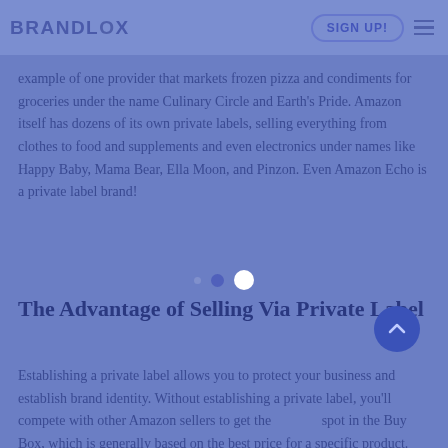BRANDLOX — navigation bar with SIGN UP! button and hamburger menu
Private labels are common in grocery. The following is an example of one provider that markets frozen pizza and condiments for groceries under the name Culinary Circle and Earth's Pride. Amazon itself has dozens of its own private labels, selling everything from clothes to food and supplements and even electronics under names like Happy Baby, Mama Bear, Ella Moon, and Pinzon. Even Amazon Echo is a private label brand!
The Advantage of Selling Via Private Label
Establishing a private label allows you to protect your business and establish brand identity. Without establishing a private label, you'll compete with other Amazon sellers to get the coveted spot in the Buy Box, which is generally based on the best price for a specific product. Other sellers can keep lowering their price to remain in that top spot. In other words, you expose yourself to price wars,